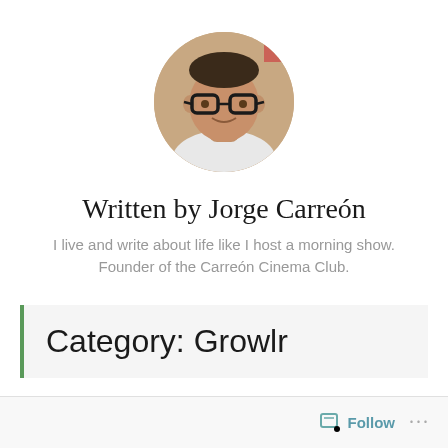[Figure (photo): Circular profile photo of Jorge Carreón, a man wearing dark-rimmed glasses, selfie-style photo]
Written by Jorge Carreón
I live and write about life like I host a morning show. Founder of the Carreón Cinema Club.
Category: Growlr
Follow ...